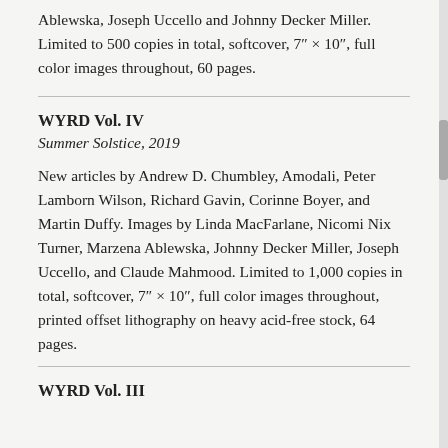Ablewska, Joseph Uccello and Johnny Decker Miller. Limited to 500 copies in total, softcover, 7″ × 10″, full color images throughout, 60 pages.
WYRD Vol. IV
Summer Solstice, 2019
New articles by Andrew D. Chumbley, Amodali, Peter Lamborn Wilson, Richard Gavin, Corinne Boyer, and Martin Duffy. Images by Linda MacFarlane, Nicomi Nix Turner, Marzena Ablewska, Johnny Decker Miller, Joseph Uccello, and Claude Mahmood. Limited to 1,000 copies in total, softcover, 7″ × 10″, full color images throughout, printed offset lithography on heavy acid-free stock, 64 pages.
WYRD Vol. III